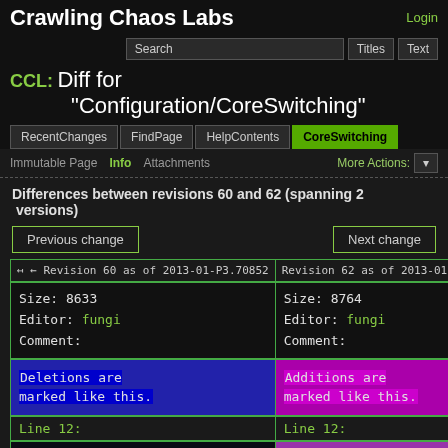Crawling Chaos Labs
CCL: Diff for "Configuration/CoreSwitching"
Differences between revisions 60 and 62 (spanning 2 versions)
| Revision 60 as of 2013-01-... | Revision 62 as of 2013-01-... |
| --- | --- |
| Size: 8633
Editor: fungi
Comment: | Size: 8764
Editor: fungi
Comment: |
| Deletions are marked like this. | Additions are marked like this. |
| Line 12: | Line 12: |
|  | * solder serial connectors to the boards for out-of- |